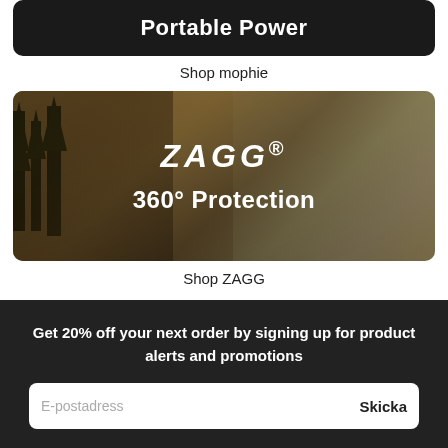[Figure (photo): Dark banner with 'Portable Power' text on a dark background]
Shop mophie
[Figure (photo): ZAGG outdoor lifestyle banner showing ZAGG logo and '360° Protection' text over a nature scene with a person and dog]
Shop ZAGG
Get 20% off your next order by signing up for product alerts and promotions
E-postadress    Skicka